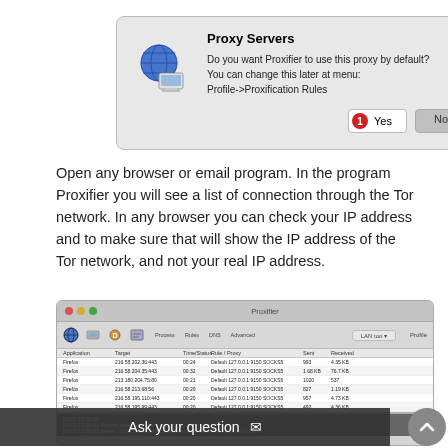[Figure (screenshot): Proxifier dialog box asking 'Do you want Proxifier to use this proxy by default? You can change this later at menu: Profile->Proxification Rules' with a Yes button (labeled with red badge 1) and a No button.]
Open any browser or email program. In the program Proxifier you will see a list of connection through the Tor network. In any browser you can check your IP address and to make sure that will show the IP address of the Tor network, and not your real IP address.
[Figure (screenshot): Proxifier application window showing a list of Firefox connections through 127.0.0.1:9150 SOCKS5 proxy, with columns Application, Target, Time/Status, Rule/Proxy, Sent, Received. Multiple rows showing Firefox connections to various IPs.]
Ask your question